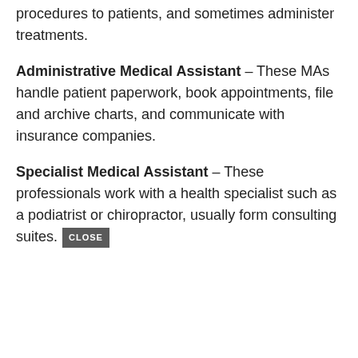procedures to patients, and sometimes administer treatments.
Administrative Medical Assistant – These MAs handle patient paperwork, book appointments, file and archive charts, and communicate with insurance companies.
Specialist Medical Assistant – These professionals work with a health specialist such as a podiatrist or chiropractor, usually form consulting suites.